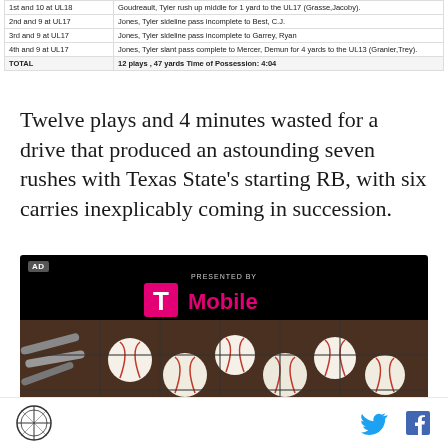| Down & Distance | Play Description |
| --- | --- |
| 1st and 10 at UL18 | Goudreault, Tyler rush up middle for 1 yard to the UL17 (Grasse, Jacoby). |
| 2nd and 9 at UL17 | Jones, Tyler sideline pass incomplete to Best, C.J. |
| 3rd and 9 at UL17 | Jones, Tyler sideline pass incomplete to Garrey, Ryan |
| 4th and 9 at UL17 | Jones, Tyler slant pass complete to Mercer, Demun for 4 yards to the UL13 (Granier, Trey). |
| TOTAL | 12 plays , 47 yards Time of Possession: 4:04 |
Twelve plays and 4 minutes wasted for a drive that produced an astounding seven rushes with Texas State's starting RB, with six carries inexplicably coming in succession.
[Figure (photo): Advertisement: Presented by T-Mobile, with background image of baseballs in a bucket with baseball bats]
SB Nation logo, Twitter icon, Facebook icon